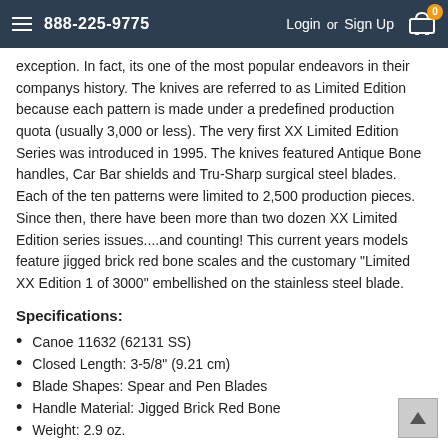888-225-9775  Login or Sign Up  [Cart: 0]
exception. In fact, its one of the most popular endeavors in their companys history. The knives are referred to as Limited Edition because each pattern is made under a predefined production quota (usually 3,000 or less). The very first XX Limited Edition Series was introduced in 1995. The knives featured Antique Bone handles, Car Bar shields and Tru-Sharp surgical steel blades. Each of the ten patterns were limited to 2,500 production pieces. Since then, there have been more than two dozen XX Limited Edition series issues....and counting! This current years models feature jigged brick red bone scales and the customary "Limited XX Edition 1 of 3000" embellished on the stainless steel blade.
Specifications:
Canoe 11632 (62131 SS)
Closed Length: 3-5/8" (9.21 cm)
Blade Shapes: Spear and Pen Blades
Handle Material: Jigged Brick Red Bone
Weight: 2.9 oz.